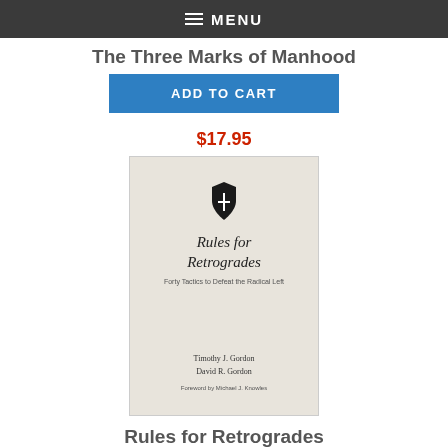MENU
The Three Marks of Manhood
ADD TO CART
$17.95
[Figure (photo): Book cover of 'Rules for Retrogrades' by Timothy J. Gordon and David R. Gordon, with a shield/cross icon at top, subtitle 'Forty Tactics to Defeat the Radical Left', foreword by Michael J. Knowles]
Rules for Retrogrades
ADD TO CART
$24.95
[Figure (photo): Partial book cover of a Fulton J. Sheen book, dark navy cover with white text]
Donate